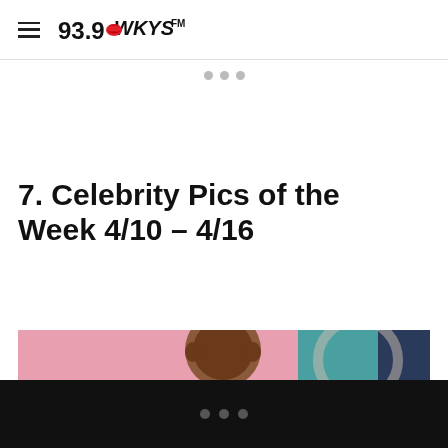93.9 WKYS FM
[Figure (screenshot): Carousel navigation dots and horizontal divider line]
7. Celebrity Pics of the Week 4/10 – 4/16
[Figure (photo): Photo of a man against a pink and teal background]
Navigation dots on black bar